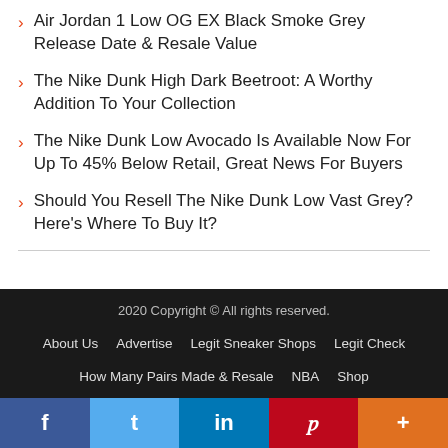Air Jordan 1 Low OG EX Black Smoke Grey Release Date & Resale Value
The Nike Dunk High Dark Beetroot: A Worthy Addition To Your Collection
The Nike Dunk Low Avocado Is Available Now For Up To 45% Below Retail, Great News For Buyers
Should You Resell The Nike Dunk Low Vast Grey? Here's Where To Buy It?
2020 Copyright © All rights reserved.
About Us  Advertise  Legit Sneaker Shops  Legit Check
How Many Pairs Made & Resale  NBA  Shop
f  t  in  p  +